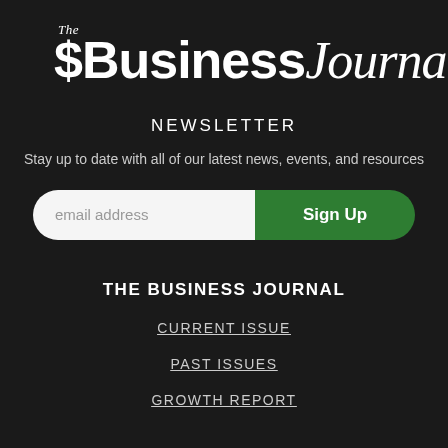[Figure (logo): The Business Journal logo — 'The' in small italic serif above 'Business' in bold sans-serif and 'Journal' in italic serif, all white on dark background]
NEWSLETTER
Stay up to date with all of our latest news, events, and resources
[Figure (other): Email signup form with a white rounded input field showing placeholder 'email address' and a green rounded 'Sign Up' button]
THE BUSINESS JOURNAL
CURRENT ISSUE
PAST ISSUES
GROWTH REPORT